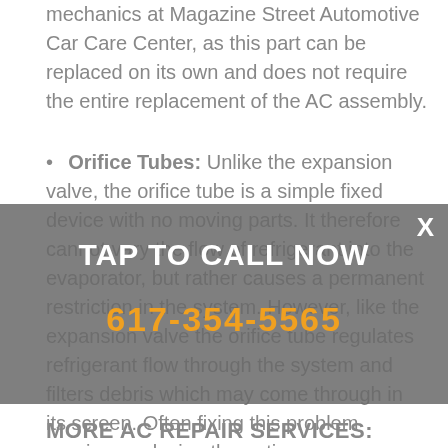mechanics at Magazine Street Automotive Car Care Center, as this part can be replaced on its own and does not require the entire replacement of the AC assembly.
Orifice Tubes: Unlike the expansion valve, the orifice tube is a simple fixed device with no moving parts. It therefore cannot vary the flow of refrigerant into the evaporator, but rather causes a permanent restriction in the system. However, like the expansion valve the orifice tube regulates refrigerant flow through the system and filters debris which may come through in its screen. Often fixing this problem requires replacing the entire evaporator...
TAP TO CALL NOW
617-354-5565
MORE AC REPAIR SERVICES: